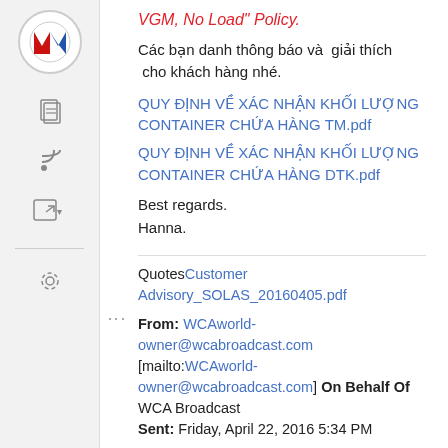[Figure (logo): Circular logo with red and blue M letter mark on white background]
VGM, No Load" Policy.
Các bạn danh thông báo và giải thích cho khách hàng nhé.
QUY ĐỊNH VỀ XÁC NHẬN KHỐI LƯỢNG CONTAINER CHỨA HÀNG TM.pdf
QUY ĐỊNH VỀ XÁC NHẬN KHỐI LƯỢNG CONTAINER CHỨA HÀNG DTK.pdf
Best regards.
Hanna.
QuotesCustomer Advisory_SOLAS_20160405.pdf
From: WCAworld-owner@wcabroadcast.com [mailto:WCAworld-owner@wcabroadcast.com] On Behalf Of WCA Broadcast
Sent: Friday, April 22, 2016 5:34 PM